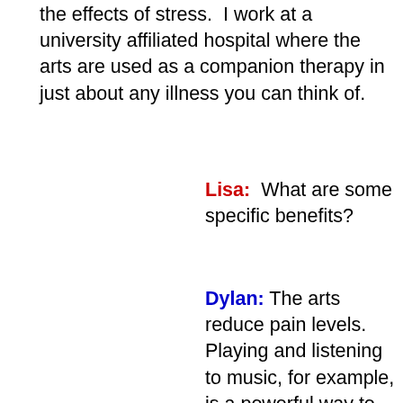the effects of stress.  I work at a university affiliated hospital where the arts are used as a companion therapy in just about any illness you can think of.
Lisa:  What are some specific benefits?
Dylan: The arts reduce pain levels.  Playing and listening to music, for example, is a powerful way to control pain.  Dance is used successfully in our hospital to help Parkinson's patients maintain mobility.  Writing and painting can help you make meaning out of crisis.  Viewing visual
art has a sense of it and for all purposes, the alt...